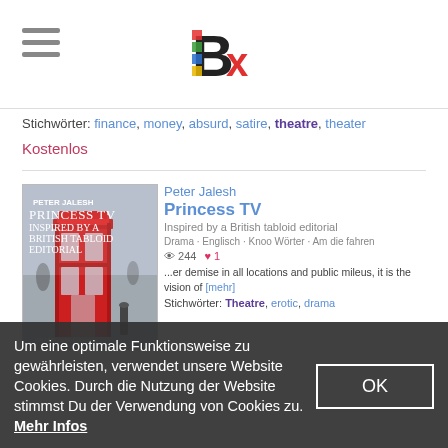Bx logo and hamburger menu
Stichwörter: finance, money, absurd, satire, theatre, theater
Kostenlos
[Figure (photo): Book cover: Princess TV Inspired by a British Tabloid Editorial, showing a red British telephone box]
Peter Jalesh
Princess TV
Inspired by a British tabloid editorial
Drama · Englisch · Knoo Wörter · Am die fahren
244 views · 1 like
...er demise in all locations and public mileus, it is the vision of [mehr]
Stichwörter: Theatre, erotic, drama
Um eine optimale Funktionsweise zu gewährleisten, verwendet unsere Website Cookies. Durch die Nutzung der Website stimmst Du der Verwendung von Cookies zu. Mehr Infos